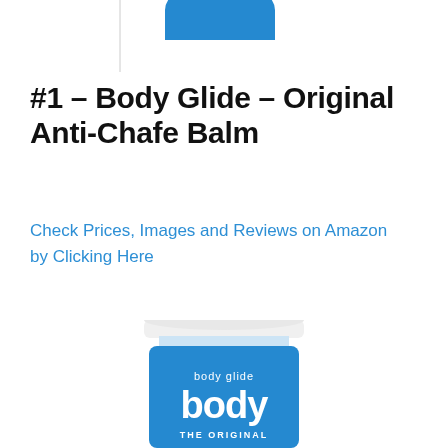[Figure (photo): Partial top view of a blue Body Glide product container, cropped at the top of the page]
#1 – Body Glide – Original Anti-Chafe Balm
Check Prices, Images and Reviews on Amazon by Clicking Here
[Figure (photo): Body Glide Original Anti-Chafe Balm stick in blue packaging with white text reading 'body glide body THE ORIGINAL']